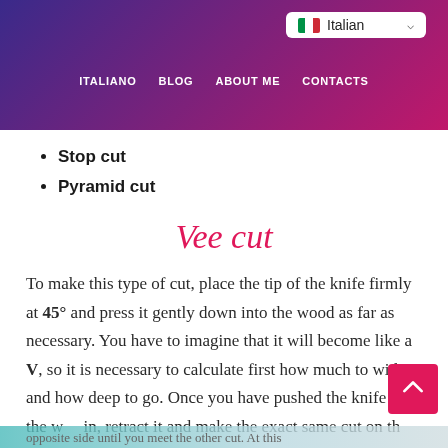ITALIANO  BLOG  ABOUT ME  CONTACTS
Stop cut
Pyramid cut
Vee cut
To make this type of cut, place the tip of the knife firmly at 45° and press it gently down into the wood as far as necessary. You have to imagine that it will become like a V, so it is necessary to calculate first how much to widen and how deep to go. Once you have pushed the knife all the way in, retract it and make the exact same cut on the opposite side until you meet the other cut. At this